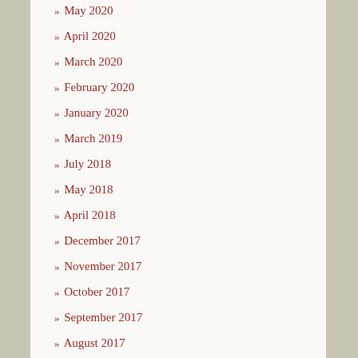May 2020
April 2020
March 2020
February 2020
January 2020
March 2019
July 2018
May 2018
April 2018
December 2017
November 2017
October 2017
September 2017
August 2017
July 2017
June 2017